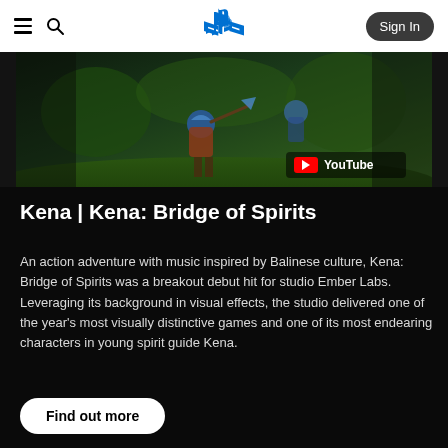PlayStation navigation bar with hamburger menu, search icon, PlayStation logo, and Sign In button
[Figure (screenshot): Video thumbnail showing Kena: Bridge of Spirits gameplay with character in forest environment, YouTube watermark in bottom right]
Kena | Kena: Bridge of Spirits
An action adventure with music inspired by Balinese culture, Kena: Bridge of Spirits was a breakout debut hit for studio Ember Labs. Leveraging its background in visual effects, the studio delivered one of the year’s most visually distinctive games and one of its most endearing characters in young spirit guide Kena.
Find out more